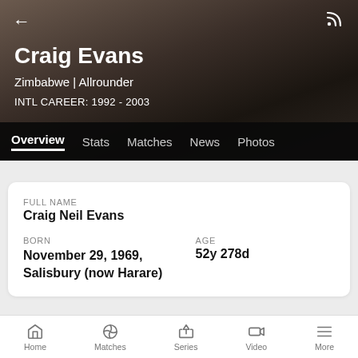[Figure (photo): Blurred portrait of cricket player Craig Evans in dark background hero image]
Craig Evans
Zimbabwe | Allrounder
INTL CAREER: 1992 - 2003
Overview  Stats  Matches  News  Photos
| FULL NAME |  |
| --- | --- |
| Craig Neil Evans |  |
| BORN | AGE |
| November 29, 1969, Salisbury (now Harare) | 52y 278d |
Home  Matches  Series  Video  More